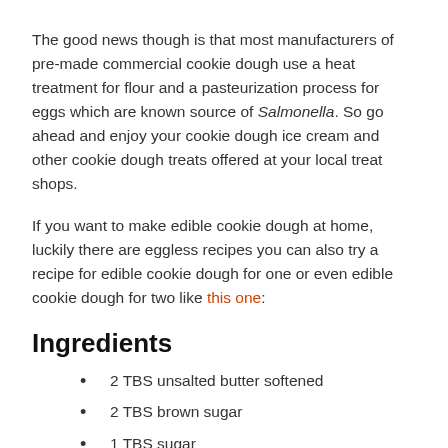The good news though is that most manufacturers of pre-made commercial cookie dough use a heat treatment for flour and a pasteurization process for eggs which are known source of Salmonella. So go ahead and enjoy your cookie dough ice cream and other cookie dough treats offered at your local treat shops.
If you want to make edible cookie dough at home, luckily there are eggless recipes you can also try a recipe for edible cookie dough for one or even edible cookie dough for two like this one:
Ingredients
2 TBS unsalted butter softened
2 TBS brown sugar
1 TBS sugar